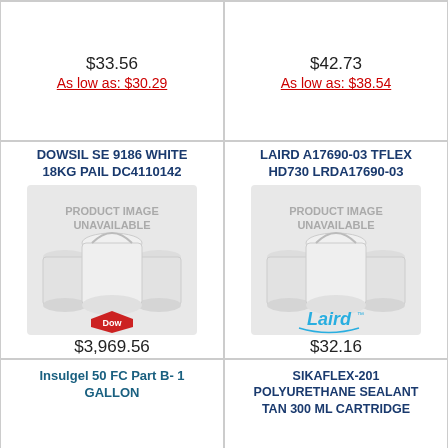$33.56
As low as: $30.29
$42.73
As low as: $38.54
DOWSIL SE 9186 WHITE 18KG PAIL DC4110142
[Figure (photo): Product image unavailable placeholder showing three white plastic buckets with the Dow diamond logo below]
$3,969.56
As low as: $3,572.60
LAIRD A17690-03 TFLEX HD730 LRDA17690-03
[Figure (photo): Product image unavailable placeholder showing three white plastic buckets with the Laird brand logo below]
$32.16
As low as: $29.01
Insulgel 50 FC Part B- 1 GALLON
SIKAFLEX-201 POLYURETHANE SEALANT TAN 300 ML CARTRIDGE